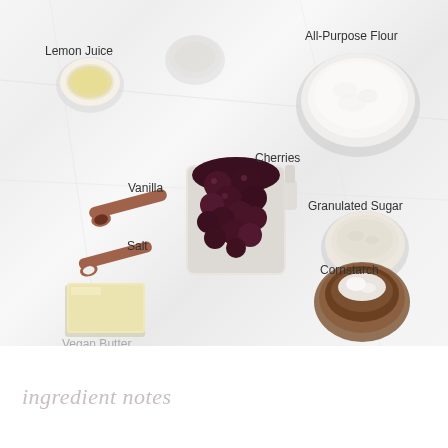[Figure (photo): Overhead flat-lay photo on white marble surface showing recipe ingredients labeled: Lemon Juice (small bowl with yellow liquid), All-Purpose Flour (large bowl with white flour), Cherries (large measuring cup filled with dark cherries), Vanilla (wooden measuring spoon with dark liquid), Salt (wooden measuring spoon with white salt), Granulated Sugar (small white bowl with granulated sugar), Vegan Butter (rectangular block of pale yellow butter), Cornstarch (dark brown bowl with white powder). Labels are in dark text next to each ingredient.]
ingredient notes